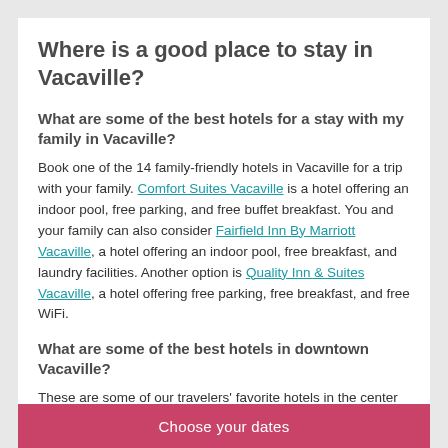Where is a good place to stay in Vacaville?
What are some of the best hotels for a stay with my family in Vacaville?
Book one of the 14 family-friendly hotels in Vacaville for a trip with your family. Comfort Suites Vacaville is a hotel offering an indoor pool, free parking, and free buffet breakfast. You and your family can also consider Fairfield Inn By Marriott Vacaville, a hotel offering an indoor pool, free breakfast, and laundry facilities. Another option is Quality Inn & Suites Vacaville, a hotel offering free parking, free breakfast, and free WiFi.
What are some of the best hotels in downtown Vacaville?
These are some of our travelers' favorite hotels in the center of Vacaville:
Choose your dates